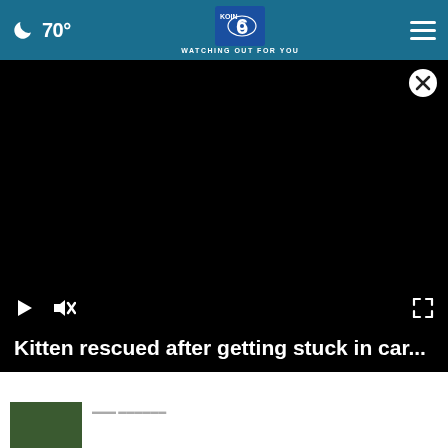70° KOIN 6 CBS — WATCHING OUT FOR YOU
[Figure (screenshot): Black video player area, paused, with close button (X in circle) at top right, play button and muted speaker icon at bottom left, fullscreen icon at bottom right]
Kitten rescued after getting stuck in car...
[Figure (photo): Small green/foliage thumbnail image at bottom left]
Video thumbnail row with caption text